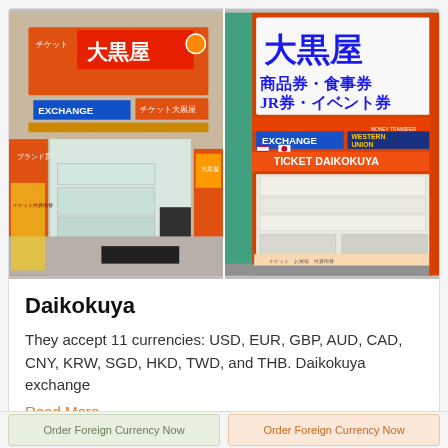[Figure (photo): Two side-by-side photos of Daikokuya currency exchange shop fronts in Japan. Left photo shows an orange-fronted store with Japanese signage, an EXCHANGE sign, glass display cases visible inside, and items posted in windows. Right photo shows another Daikokuya branch with large Japanese characters, EXCHANGE and WESTERN UNION signs, and TICKET DAIKOKUYA branding.]
Daikokuya
They accept 11 currencies: USD, EUR, GBP, AUD, CAD, CNY, KRW, SGD, HKD, TWD, and THB. Daikokuya exchange
Read More...
Order Foreign Currency Now
Order Foreign Currency Now